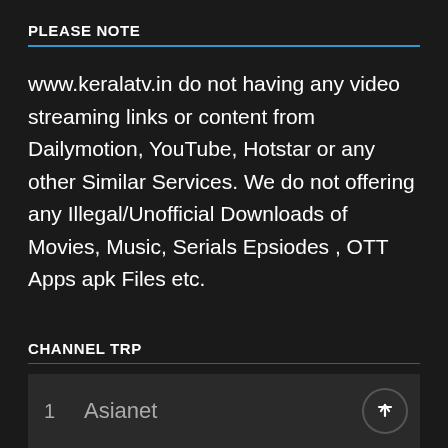PLEASE NOTE
www.keralatv.in do not having any video streaming links or content from Dailymotion, YouTube, Hotstar or any other Similar Services. We do not offering any Illegal/Unofficial Downloads of Movies, Music, Serials Epsiodes , OTT Apps apk Files etc.
CHANNEL TRP
|  | Channel |  |
| --- | --- | --- |
| 1 | Asianet | ↑ |